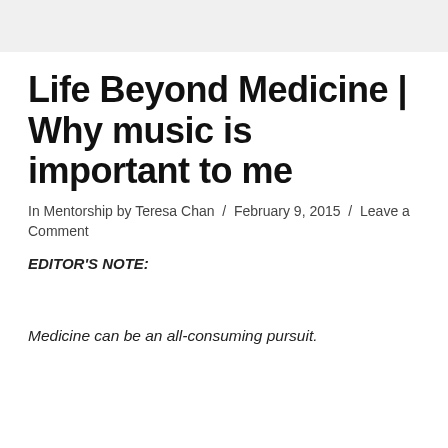Life Beyond Medicine | Why music is important to me
In Mentorship by Teresa Chan / February 9, 2015 / Leave a Comment
EDITOR'S NOTE:
Medicine can be an all-consuming pursuit.
Sign-up now to receive updates on new content!
Your email address:
Subscribe